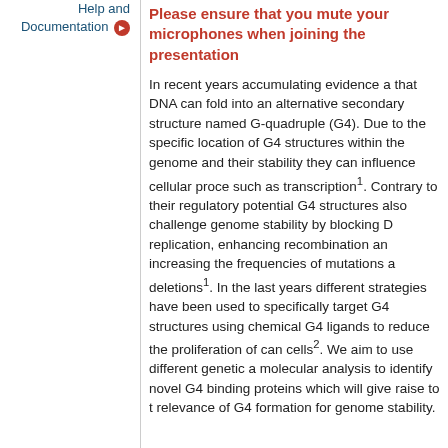Help and Documentation
Please ensure that you mute your microphones when joining the presentation
In recent years accumulating evidence a... that DNA can fold into an alternative secondary structure named G-quadruple (G4). Due to the specific location of G4 structures within the genome and their stability they can influence cellular proce... such as transcription1. Contrary to their regulatory potential G4 structures also challenge genome stability by blocking D... replication, enhancing recombination and increasing the frequencies of mutations a... deletions1. In the last years different strategies have been used to specifically target G4 structures using chemical G4 ligands to reduce the proliferation of can... cells2. We aim to use different genetic a... molecular analysis to identify novel G4 binding proteins which will give raise to t... relevance of G4 formation for genome stability.